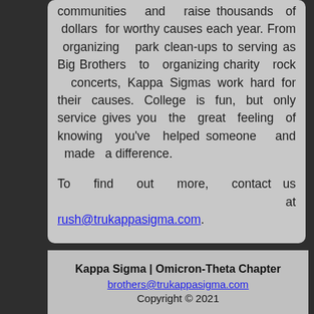communities and raise thousands of dollars for worthy causes each year. From organizing park clean-ups to serving as Big Brothers to organizing charity rock concerts, Kappa Sigmas work hard for their causes. College is fun, but only service gives you the great feeling of knowing you've helped someone and made a difference.

To find out more, contact us at rush@trukappasigma.com.
Kappa Sigma | Omicron-Theta Chapter
brothers@trukappasigma.com
Copyright © 2021